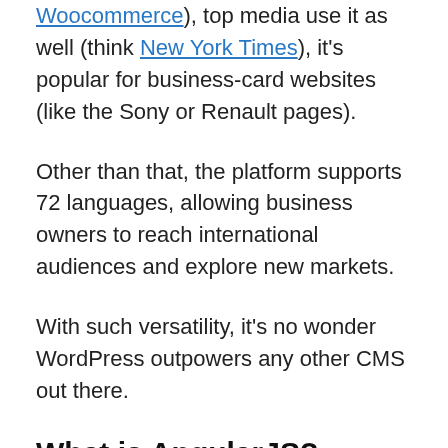Woocommerce), top media use it as well (think New York Times), it's popular for business-card websites (like the Sony or Renault pages).
Other than that, the platform supports 72 languages, allowing business owners to reach international audiences and explore new markets.
With such versatility, it's no wonder WordPress outpowers any other CMS out there.
What is AngularJS?